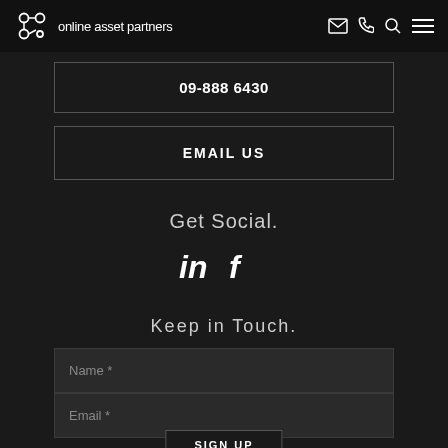online asset partners
09-888 6430
EMAIL US
Get Social.
[Figure (infographic): LinkedIn and Facebook social media icons]
Keep in Touch.
Name *
Email *
SIGN UP